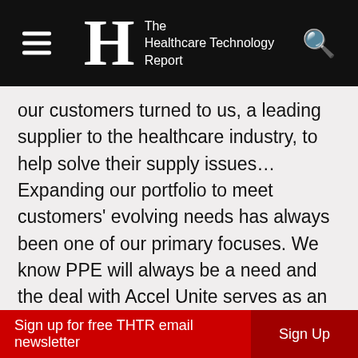The Healthcare Technology Report
our customers turned to us, a leading supplier to the healthcare industry, to help solve their supply issues… Expanding our portfolio to meet customers' evolving needs has always been one of our primary focuses. We know PPE will always be a need and the deal with Accel Unite serves as an opportunity for Siemens Healthineers to be a solutions partner for our customers."
Accel Unite took over a year in developing its spin on reusable gowns, improving affordability, providing better protection against cross-contamination, and taking pains to create an environmentally safe product. Its finalized gown, which is currently patent-pending in 153 countries, featured input from
Sign up for free THTR email newsletter